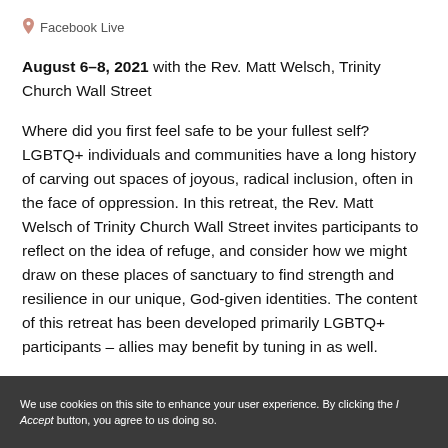📍 Facebook Live
August 6–8, 2021 with the Rev. Matt Welsch, Trinity Church Wall Street
Where did you first feel safe to be your fullest self? LGBTQ+ individuals and communities have a long history of carving out spaces of joyous, radical inclusion, often in the face of oppression. In this retreat, the Rev. Matt Welsch of Trinity Church Wall Street invites participants to reflect on the idea of refuge, and consider how we might draw on these places of sanctuary to find strength and resilience in our unique, God-given identities. The content of this retreat has been developed primarily LGBTQ+ participants – allies may benefit by tuning in as well.
We use cookies on this site to enhance your user experience. By clicking the I Accept button, you agree to us doing so.